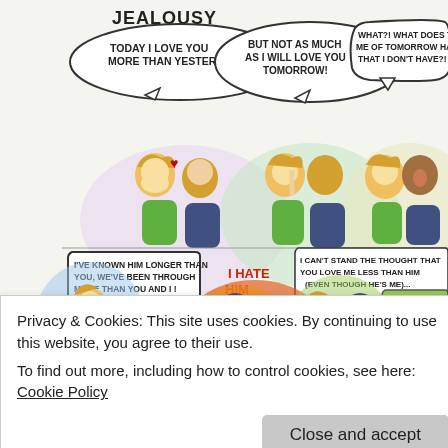[Figure (illustration): A comic strip titled JEALOUSY showing a couple in six panels. Panel 1: Woman tells man 'TODAY I LOVE YOU MORE THAN YESTERDAY'. Panel 2: Man says 'BUT NOT AS MUCH AS I WILL LOVE YOU TOMORROW!'. Panel 3: Woman angrily says 'WHAT?! WHAT DOES THE ME OF TOMORROW HAVE THAT I DON'T HAVE?!'. Panel 4: Woman says 'I'VE KNOWN HIM LONGER THAN YOU, WE'VE BEEN THROUGH MORE THAN YOU AND I!'. Panel 5: Text reads 'I HATE HIM ALREADY!!!' in red, showing man strangling future self in flames. Panel 6: Text 'I CAN'T STAND THE THOUGHT THAT YOU LOVE ME LESS THAN HIM (EVEN THOUGH HE'S ME)...' and 'I AM GOING TO DESTROY HIM!!!'. Bottom row captions: 'THERE! AND THERE! DIE, FUTURE ME!', 'HA! NOW YOU WILL LOVE ME FOREVER!', 'WRONG! NOW I WILL YEARN FOREVER FOR THE FUTURE YOU.']
Privacy & Cookies: This site uses cookies. By continuing to use this website, you agree to their use.
To find out more, including how to control cookies, see here: Cookie Policy